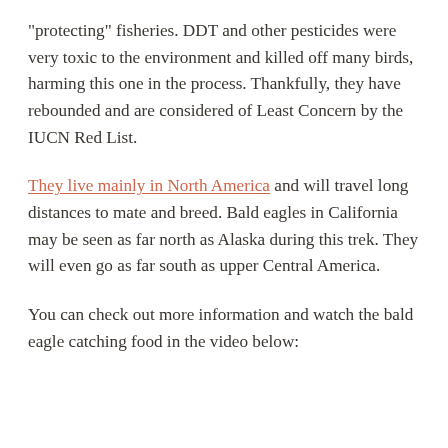"protecting" fisheries. DDT and other pesticides were very toxic to the environment and killed off many birds, harming this one in the process. Thankfully, they have rebounded and are considered of Least Concern by the IUCN Red List.
They live mainly in North America and will travel long distances to mate and breed. Bald eagles in California may be seen as far north as Alaska during this trek. They will even go as far south as upper Central America.
You can check out more information and watch the bald eagle catching food in the video below: